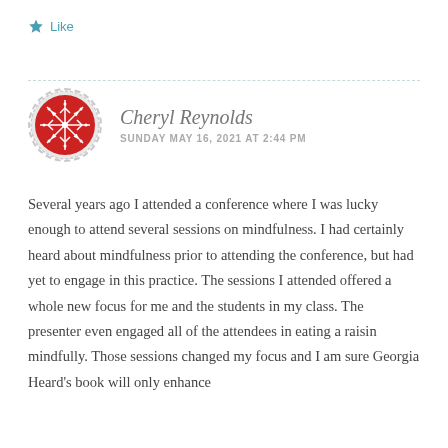★ Like
Cheryl Reynolds
SUNDAY MAY 16, 2021 AT 2:44 PM
Several years ago I attended a conference where I was lucky enough to attend several sessions on mindfulness. I had certainly heard about mindfulness prior to attending the conference, but had yet to engage in this practice. The sessions I attended offered a whole new focus for me and the students in my class. The presenter even engaged all of the attendees in eating a raisin mindfully. Those sessions changed my focus and I am sure Georgia Heard's book will only enhance